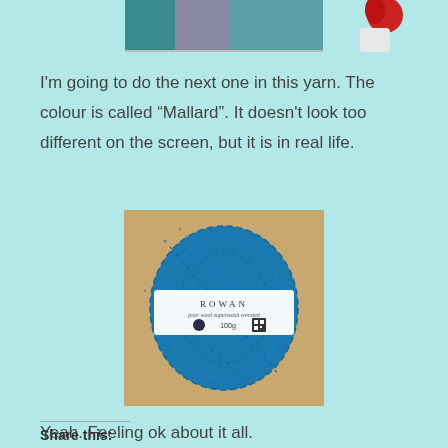[Figure (photo): Partial photo at top of page showing a person in blue-grey clothing with a red flower/vase in background]
I'm going to do the next one in this yarn. The colour is called “Mallard”. It doesn’t look too different on the screen, but it is in real life.
[Figure (photo): Photo of a ball of teal/turquoise yarn with a Rowan brand label showing 100g]
Yeah. Feeling ok about it all.
Share this: